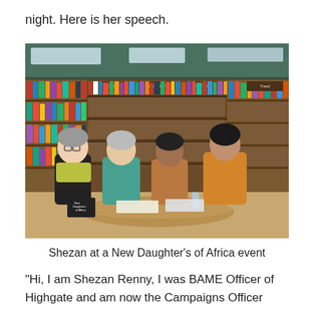night. Here is her speech.
[Figure (photo): Four women seated at a round table inside a bookshop, with bookshelves visible in the background. One woman wears a yellow-green scarf, one wears a teal outfit, one wears a patterned top, and one wears an orange/gold patterned dress. A book titled 'New Daughters of Africa' is visible on the table.]
Shezan at a New Daughter's of Africa event
“Hi, I am Shezan Renny, I was BAME Officer of Highgate and am now the Campaigns Officer